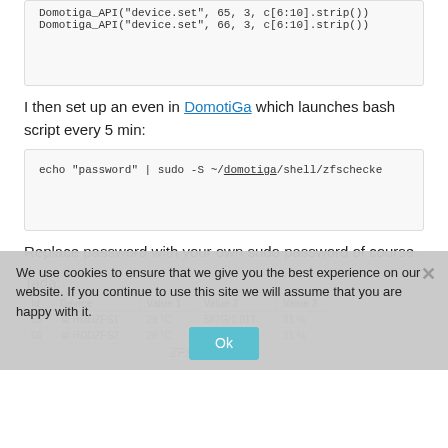[Figure (screenshot): Code block showing Domotiga_API calls: Domotiga_API("device.set", 65, 3, c[6:10].strip()) and Domotiga_API("device.set", 66, 3, c[6:10].strip())]
I then set up an even in DomotiGa which launches bash script every 5 min:
[Figure (screenshot): Code block: echo "password" | sudo -S ~/domotiga/shell/zfschecke]
Replace password with your own sudo password of course.
Tada:
[Figure (table-as-image): Table showing ZFS disk space: Id 65 HDDZFS1 29°C 587G/1.81T 31%; Id 66 HDDZFS2 28°C 587G/1.81T 31%]
ZFS Disk Space
We use cookies to ensure that we give you the best experience on our website. If you continue to use this site we will assume that you are happy with it.